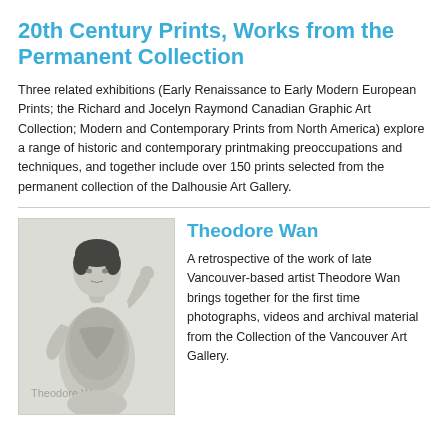20th Century Prints, Works from the Permanent Collection
Three related exhibitions (Early Renaissance to Early Modern European Prints; the Richard and Jocelyn Raymond Canadian Graphic Art Collection; Modern and Contemporary Prints from North America) explore a range of historic and contemporary printmaking preoccupations and techniques, and together include over 150 prints selected from the permanent collection of the Dalhousie Art Gallery.
[Figure (photo): Black and white photograph of Theodore Wan, a shirtless man with a tattooed torso, with his name watermarked across the lower portion of the image.]
Theodore Wan
A retrospective of the work of late Vancouver-based artist Theodore Wan brings together for the first time photographs, videos and archival material from the Collection of the Vancouver Art Gallery.